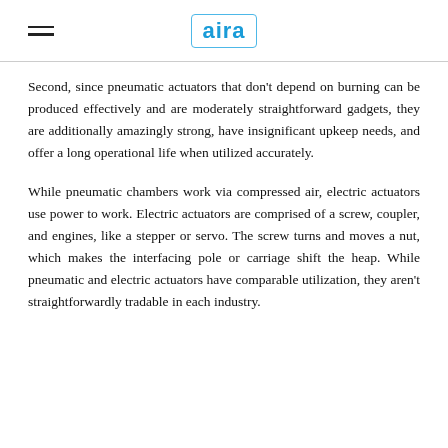aira
Second, since pneumatic actuators that don't depend on burning can be produced effectively and are moderately straightforward gadgets, they are additionally amazingly strong, have insignificant upkeep needs, and offer a long operational life when utilized accurately.
While pneumatic chambers work via compressed air, electric actuators use power to work. Electric actuators are comprised of a screw, coupler, and engines, like a stepper or servo. The screw turns and moves a nut, which makes the interfacing pole or carriage shift the heap. While pneumatic and electric actuators have comparable utilization, they aren't straightforwardly tradable in each industry.